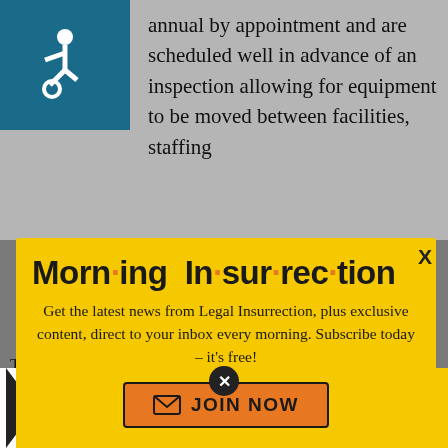annual by appointment and are scheduled well in advance of an inspection allowing for equipment to be moved between facilities, staffing
[Figure (infographic): Morning Insurrection newsletter popup modal with yellow background. Title reads 'Morn·ing In·sur·rec·tion' with orange dots. Body text: 'Get the latest news from Legal Insurrection, plus exclusive content, direct to your inbox every morning. Subscribe today – it's free!' with a JOIN NOW button.]
The Kaiser Family Foundation's ra... criteria for rating...es several culprits
[Figure (infographic): THE PERSPECTIVE advertisement banner - SEE WHAT YOU'RE MISSING - READ MORE]